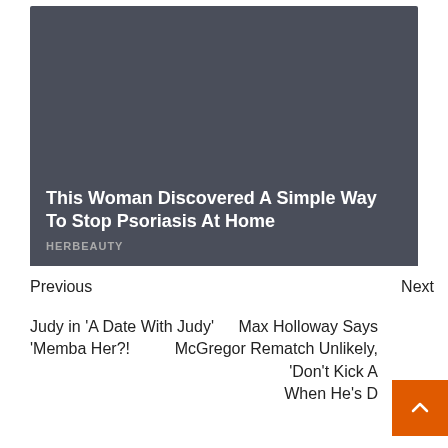[Figure (other): Dark gray advertisement card for HerBeauty with headline text overlay at bottom]
This Woman Discovered A Simple Way To Stop Psoriasis At Home
HERBEAUTY
Previous
Next
Judy in 'A Date With Judy' 'Memba Her?!
Max Holloway Says McGregor Rematch Unlikely, 'Don't Kick A When He's D